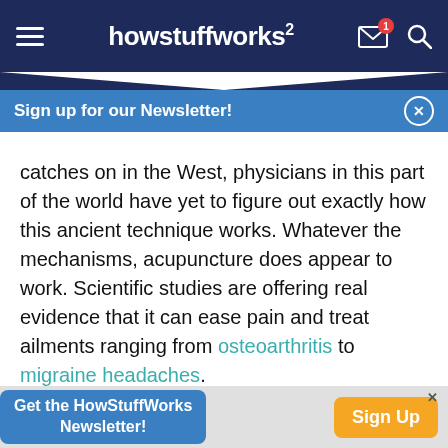[Figure (screenshot): HowStuffWorks navigation bar with hamburger menu, logo, mail icon with badge (1), and search icon on dark navy background]
[Figure (infographic): Blue newsletter signup banner with text 'Sign up for our Newsletter!' and close button]
catches on in the West, physicians in this part of the world have yet to figure out exactly how this ancient technique works. Whatever the mechanisms, acupuncture does appear to work. Scientific studies are offering real evidence that it can ease pain and treat ailments ranging from osteoarthritis to migraine headaches.
The technique of acupuncture involves placing hair-thin needles in various pressure points (called
[Figure (infographic): Bottom ad banner: 'Get the HowStuffWorks Newsletter!' with a Sign Up button in orange]